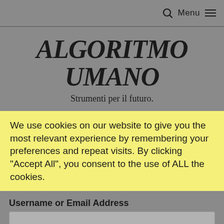Menu
ALGORITMO UMANO
Strumenti per il futuro.
We use cookies on our website to give you the most relevant experience by remembering your preferences and repeat visits. By clicking "Accept All", you consent to the use of ALL the cookies.
Username or Email Address
Password